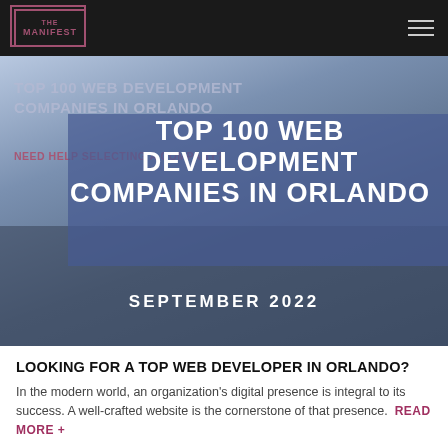THE MANIFEST
[Figure (screenshot): Hero image showing a desk with computer monitor, blurred background. Overlaid text reads: TOP 100 WEB DEVELOPMENT COMPANIES IN ORLANDO / TOP 100 WEB DEVELOPMENT COMPANIES IN ORLANDO / NEED HELP SELECTING A COMPANY? / SEPTEMBER 2022]
TOP 100 WEB DEVELOPMENT COMPANIES IN ORLANDO
TOP 100 WEB DEVELOPMENT COMPANIES IN ORLANDO
NEED HELP SELECTING A COMPANY?
SEPTEMBER 2022
LOOKING FOR A TOP WEB DEVELOPER IN ORLANDO?
In the modern world, an organization's digital presence is integral to its success. A well-crafted website is the cornerstone of that presence.  READ MORE +
LIST OF THE BEST ORLANDO WEB DEVELOPERS